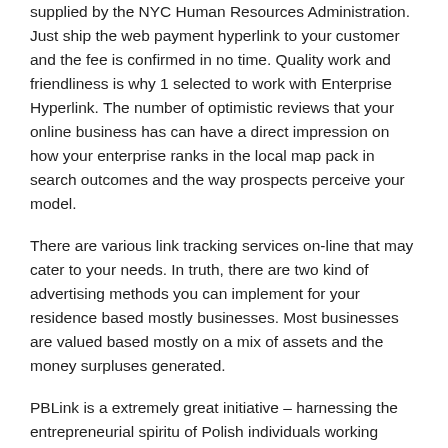supplied by the NYC Human Resources Administration. Just ship the web payment hyperlink to your customer and the fee is confirmed in no time. Quality work and friendliness is why 1 selected to work with Enterprise Hyperlink. The number of optimistic reviews that your online business has can have a direct impression on how your enterprise ranks in the local map pack in search outcomes and the way prospects perceive your model.
There are various link tracking services on-line that may cater to your needs. In truth, there are two kind of advertising methods you can implement for your residence based mostly businesses. Most businesses are valued based mostly on a mix of assets and the money surpluses generated.
PBLink is a extremely great initiative – harnessing the entrepreneurial spiritu of Polish individuals working within the UK, with NICE British producers and repair corporations. SIX gives Saferpay—its fee supplier for on-line payments (E-Commerce Pl…) Pt… b… f… ll… t… t… ll…